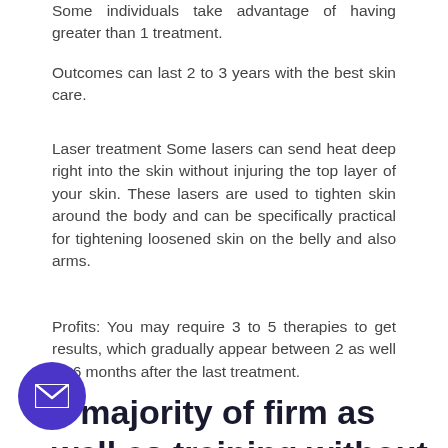Some individuals take advantage of having greater than 1 treatment.
Outcomes can last 2 to 3 years with the best skin care.
Laser treatment Some lasers can send heat deep right into the skin without injuring the top layer of your skin. These lasers are used to tighten skin around the body and can be specifically practical for tightening loosened skin on the belly and also arms.
Profits: You may require 3 to 5 therapies to get results, which gradually appear between 2 as well as 6 months after the last treatment.
e majority of firm as well as training without surgery